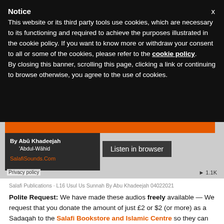Notice
This website or its third party tools use cookies, which are necessary to its functioning and required to achieve the purposes illustrated in the cookie policy. If you want to know more or withdraw your consent to all or some of the cookies, please refer to the cookie policy. By closing this banner, scrolling this page, clicking a link or continuing to browse otherwise, you agree to the use of cookies.
[Figure (screenshot): Audio player widget showing an orange bar at top, a dark card with 'By Abū Khadeejah Abdul-Wāhid' and 'SalafiSounds.Com' in orange, a 'Listen in browser' button, a 'Privacy policy' link, and a play count of 1.1K]
Salafi Publications · L16 Usul Us Sunnah By Abu Khadeejah 04022021
Polite Request: We have made these audios freely available — We request that you donate the amount of just £2 or $2 (or more) as a Sadaqah to the Salafi Bookstore and Islamic Centre so they can continue their work to print and distribute